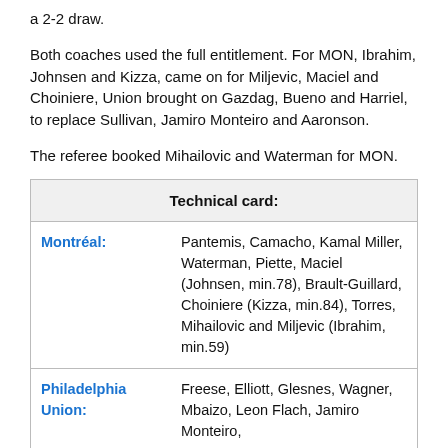a 2-2 draw.
Both coaches used the full entitlement. For MON, Ibrahim, Johnsen and Kizza, came on for Miljevic, Maciel and Choiniere, Union brought on Gazdag, Bueno and Harriel, to replace Sullivan, Jamiro Monteiro and Aaronson.
The referee booked Mihailovic and Waterman for MON.
| Technical card: |
| --- |
| Montréal: | Pantemis, Camacho, Kamal Miller, Waterman, Piette, Maciel (Johnsen, min.78), Brault-Guillard, Choiniere (Kizza, min.84), Torres, Mihailovic and Miljevic (Ibrahim, min.59) |
| Philadelphia Union: | Freese, Elliott, Glesnes, Wagner, Mbaizo, Leon Flach, Jamiro Monteiro, |